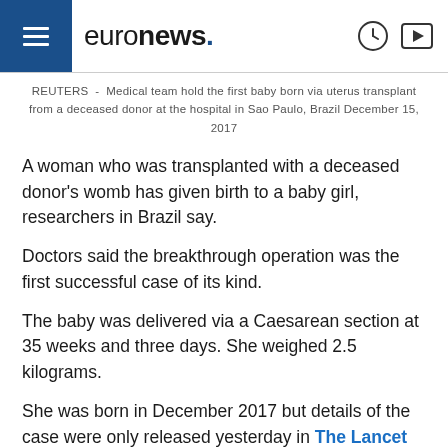euronews.
REUTERS - Medical team hold the first baby born via uterus transplant from a deceased donor at the hospital in Sao Paulo, Brazil December 15, 2017
A woman who was transplanted with a deceased donor's womb has given birth to a baby girl, researchers in Brazil say.
Doctors said the breakthrough operation was the first successful case of its kind.
The baby was delivered via a Caesarean section at 35 weeks and three days. She weighed 2.5 kilograms.
She was born in December 2017 but details of the case were only released yesterday in The Lancet Journal.
It said the case involved connecting veins from the donor's uterus with the recipient's veins, as well as